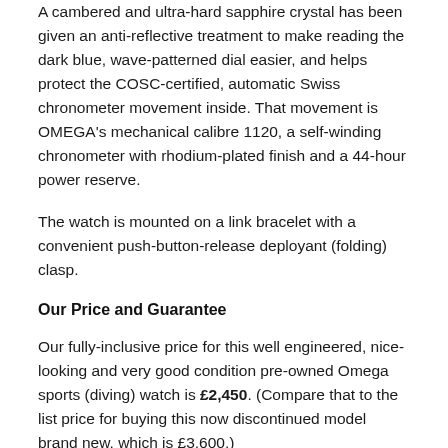A cambered and ultra-hard sapphire crystal has been given an anti-reflective treatment to make reading the dark blue, wave-patterned dial easier, and helps protect the COSC-certified, automatic Swiss chronometer movement inside. That movement is OMEGA's mechanical calibre 1120, a self-winding chronometer with rhodium-plated finish and a 44-hour power reserve.
The watch is mounted on a link bracelet with a convenient push-button-release deployant (folding) clasp.
Our Price and Guarantee
Our fully-inclusive price for this well engineered, nice-looking and very good condition pre-owned Omega sports (diving) watch is £2,450. (Compare that to the list price for buying this now discontinued model brand new, which is £3,600.)
We may also consider your existing watch in part